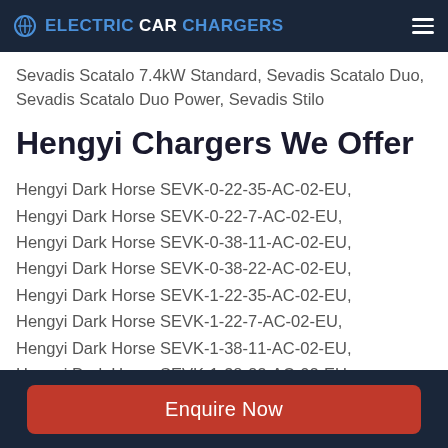ELECTRICCARCHARGERS
Sevadis Scatalo 7.4kW Standard, Sevadis Scatalo Duo, Sevadis Scatalo Duo Power, Sevadis Stilo
Hengyi Chargers We Offer
Hengyi Dark Horse SEVK-0-22-35-AC-02-EU, Hengyi Dark Horse SEVK-0-22-7-AC-02-EU, Hengyi Dark Horse SEVK-0-38-11-AC-02-EU, Hengyi Dark Horse SEVK-0-38-22-AC-02-EU, Hengyi Dark Horse SEVK-1-22-35-AC-02-EU, Hengyi Dark Horse SEVK-1-22-7-AC-02-EU, Hengyi Dark Horse SEVK-1-38-11-AC-02-EU, Hengyi Dark Horse SEVK-1-38-22-AC-02-EU
Enquire Now